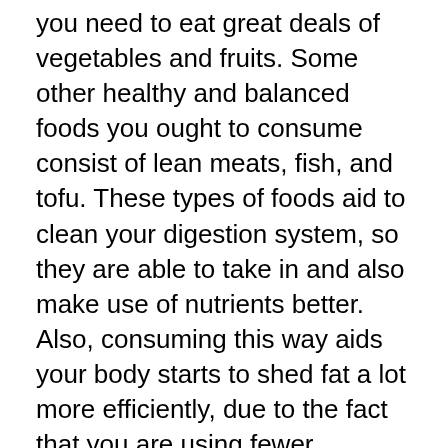you need to eat great deals of vegetables and fruits. Some other healthy and balanced foods you ought to consume consist of lean meats, fish, and tofu. These types of foods aid to clean your digestion system, so they are able to take in and also make use of nutrients better. Also, consuming this way aids your body starts to shed fat a lot more efficiently, due to the fact that you are using fewer calories.
As soon as you begin to comply with a high quality keto diet strategy, you'll notice a radical renovation in your power levels, which will lead to a boost in your general health. You might additionally observe that you start to slim down much more quickly and that you have a lot more endurance